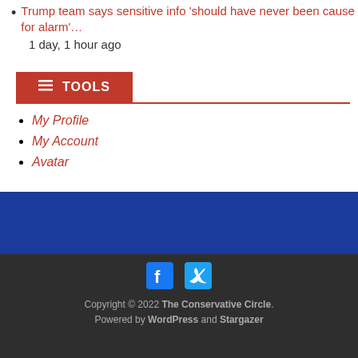Trump team says sensitive info 'should have never been cause for alarm'… 1 day, 1 hour ago
TOOLS
My Profile
My Account
Avatar
Copyright © 2022 The Conservative Circle. Powered by WordPress and Stargazer